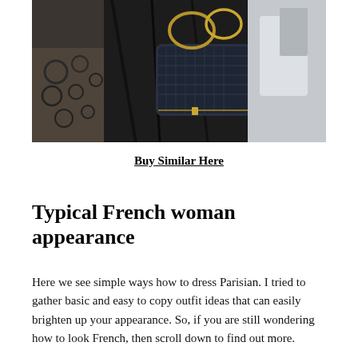[Figure (photo): Close-up photo of a woman in a black lace dress holding a dark metallic/snake-skin handbag with gold hardware, sitting outdoors]
Buy Similar Here
Typical French woman appearance
Here we see simple ways how to dress Parisian. I tried to gather basic and easy to copy outfit ideas that can easily brighten up your appearance. So, if you are still wondering how to look French, then scroll down to find out more.